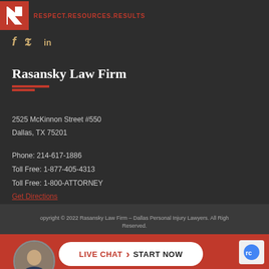[Figure (logo): Rasansky Law Firm logo — red square with white R arrow mark, followed by tagline text RESPECT.RESOURCES.RESULTS in red]
[Figure (illustration): Social media icons: Facebook (f), Twitter (bird), LinkedIn (in) in gold/tan color]
Rasansky Law Firm
2525 McKinnon Street #550
Dallas, TX 75201
Phone: 214-617-1886
Toll Free: 1-877-405-4313
Toll Free: 1-800-ATTORNEY
Get Directions
Copyright © 2022 Rasansky Law Firm - Dallas Personal Injury Lawyers. All Rights Reserved.
[Figure (photo): Circular avatar photo of a man in a suit, used for live chat widget]
LIVE CHAT  START NOW